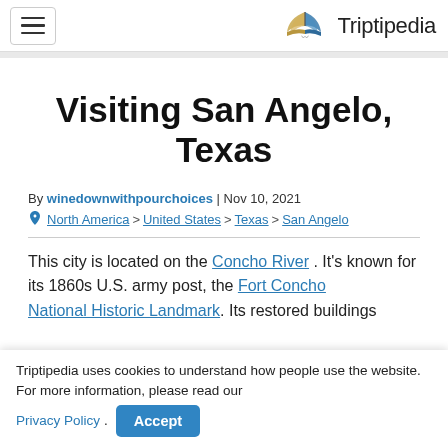Triptipedia
Visiting San Angelo, Texas
By winedownwithpourchoices | Nov 10, 2021
North America > United States > Texas > San Angelo
This city is located on the Concho River . It's known for its 1860s U.S. army post, the Fort Concho National Historic Landmark. Its restored buildings
Triptipedia uses cookies to understand how people use the website. For more information, please read our Privacy Policy. Accept